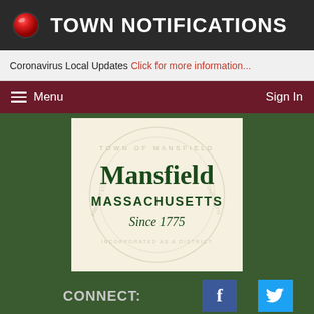TOWN NOTIFICATIONS
Coronavirus Local Updates Click for more information...
Menu   Sign In
[Figure (logo): Mansfield Massachusetts Since 1775 official town seal/logo on cream background with watermark seal]
CONNECT:
Search Mansfield...